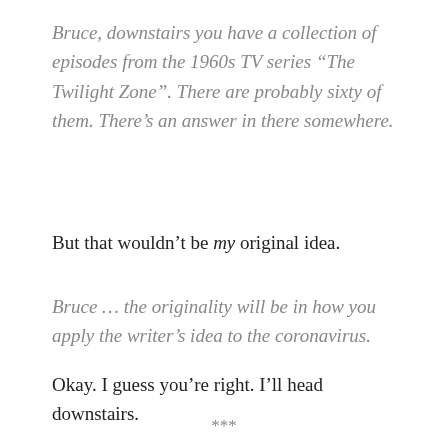Bruce, downstairs you have a collection of episodes from the 1960s TV series “The Twilight Zone”. There are probably sixty of them. There’s an answer in there somewhere.
But that wouldn’t be my original idea.
Bruce … the originality will be in how you apply the writer’s idea to the coronavirus.
Okay. I guess you’re right. I’ll head downstairs.
***